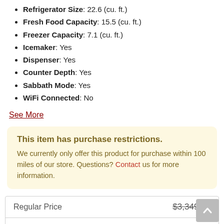Refrigerator Size: 22.6 (cu. ft.)
Fresh Food Capacity: 15.5 (cu. ft.)
Freezer Capacity: 7.1 (cu. ft.)
Icemaker: Yes
Dispenser: Yes
Counter Depth: Yes
Sabbath Mode: Yes
WiFi Connected: No
See More
This item has purchase restrictions. We currently only offer this product for purchase within 100 miles of our store. Questions? Contact us for more information.
|  |  |
| --- | --- |
| Regular Price | $3,349.99 |
| Our Price | $2,365.99 |
Enter Zip Code * For delivery options and item availability.